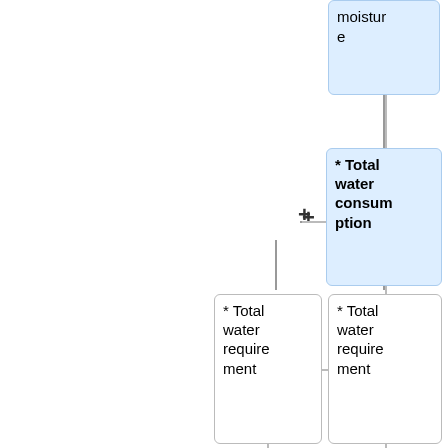[Figure (flowchart): Flowchart fragment showing water balance components. Top-right: blue box 'moisture'. Below it, blue box '* Total water consumption' with a '+' operator to its left. Middle row: white box '* Total water requirement' on left, white box '* Total water requirement' on right. Bottom row: yellow box '* Total water consumption' on left, blue box '* volumetric soil moisture content in rooted...' on right, with '-' operator below yellow box and '+' operator between them.]